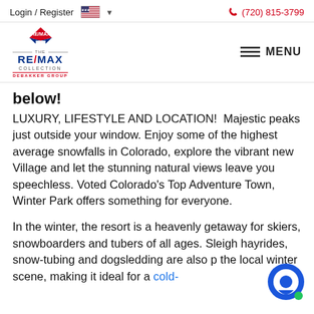Login / Register  🇺🇸 ▾    📞 (720) 815-3799
[Figure (logo): RE/MAX Collection DeBakker Group logo with diamond icon and hamburger MENU button]
below!
LUXURY, LIFESTYLE AND LOCATION!  Majestic peaks just outside your window. Enjoy some of the highest average snowfalls in Colorado, explore the vibrant new Village and let the stunning natural views leave you speechless. Voted Colorado's Top Adventure Town, Winter Park offers something for everyone.
In the winter, the resort is a heavenly getaway for skiers, snowboarders and tubers of all ages. Sleigh hayrides, snow-tubing and dogsledding are also p the local winter scene, making it ideal for a cold-